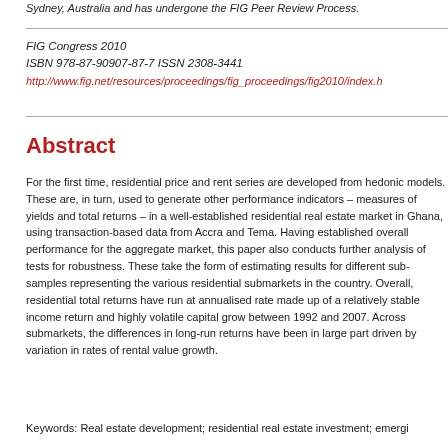Sydney, Australia and has undergone the FIG Peer Review Process.
FIG Congress 2010
ISBN 978-87-90907-87-7 ISSN 2308-3441
http://www.fig.net/resources/proceedings/fig_proceedings/fig2010/index.h
Abstract
For the first time, residential price and rent series are developed from hedonic models. These are, in turn, used to generate other performance indicators – measures of yields and total returns – in a well-established residential real estate market in Ghana, using transaction-based data from Accra and Tema. Having established overall performance for the aggregate market, this paper also conducts further analysis of tests for robustness. These take the form of estimating results for different sub-samples representing the various residential submarkets in the country. Overall, residential total returns have run at annualised rate made up of a relatively stable income return and highly volatile capital grow between 1992 and 2007. Across submarkets, the differences in long-run returns have been in large part driven by variation in rates of rental value growth.
Keywords: Real estate development; residential real estate investment; emergi